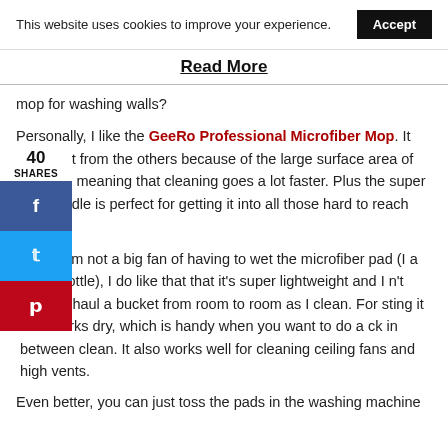This website uses cookies to improve your experience. Accept
Read More
mop for washing walls?
Personally, I like the GeeRo Professional Microfiber Mop. It stood out from the others because of the large surface area of the mop, meaning that cleaning goes a lot faster. Plus the super long handle is perfect for getting it into all those hard to reach areas.
40 SHARES
hough I'm not a big fan of having to wet the microfiber pad (I a spray bottle), I do like that that it's super lightweight and I n't need to haul a bucket from room to room as I clean. For sting it also works dry, which is handy when you want to do a ck in between clean. It also works well for cleaning ceiling fans and high vents.
Even better, you can just toss the pads in the washing machine